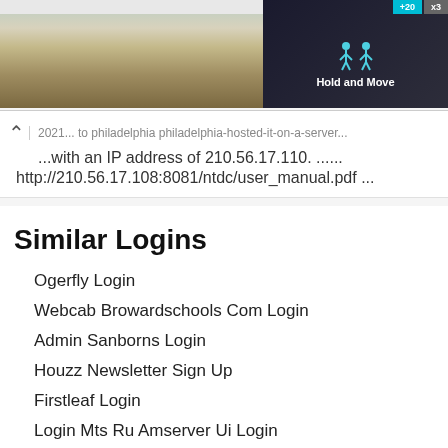[Figure (screenshot): Top portion of a webpage with a landscape photo background and a dark overlay on the right showing a 'Hold and Move' label with cyan and gray badges (+20 and x3).]
... with an IP address of 210.56.17.110. ......
http://210.56.17.108:8081/ntdc/user_manual.pdf ...
Similar Logins
Ogerfly Login
Webcab Browardschools Com Login
Admin Sanborns Login
Houzz Newsletter Sign Up
Firstleaf Login
Login Mts Ru Amserver Ui Login
Sportscheck Online Login